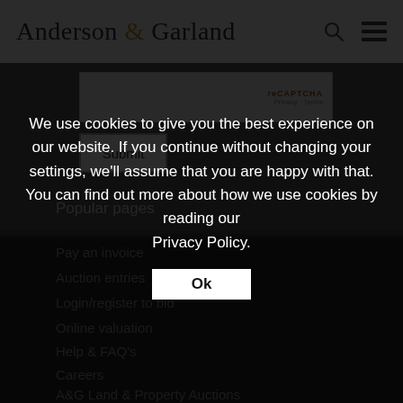Anderson & Garland
[Figure (screenshot): CAPTCHA widget with 'reCAPTCHA' text and 'Privacy · Terms' links]
Submit
Popular pages
Pay an invoice
Auction entries
Login/register to bid
Online valuation
Help & FAQ's
Careers
A&G Land & Property Auctions
We use cookies to give you the best experience on our website. If you continue without changing your settings, we'll assume that you are happy with that. You can find out more about how we use cookies by reading our Privacy Policy.
Ok